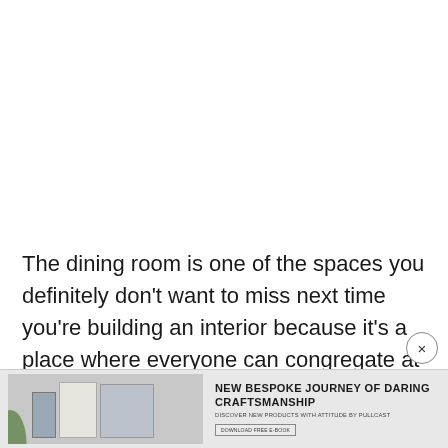The dining room is one of the spaces you definitely don't want to miss next time you're building an interior because it's a place where everyone can congregate at the end of the day to share anecdotes and share a meal together.
[Figure (other): Advertisement banner at bottom of page for Pullcast hardware. Shows product images of books/catalogues, text reading 'NEW BESPOKE JOURNEY OF DARING CRAFTSMANSHIP', subtext 'DISCOVER NEW PRODUCTS WITH ATTITUDE BY PULLCAST', a download button, and a close (X) button.]